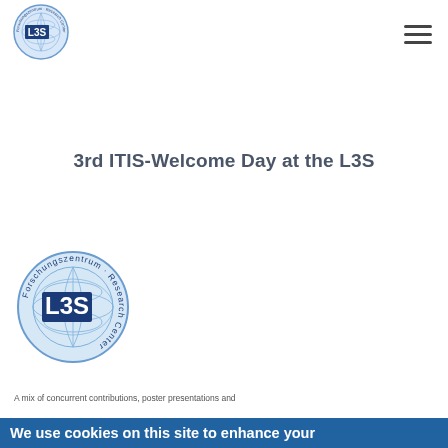[Figure (logo): L3S Forschungszentrum Research Center globe logo, small, in header]
3rd ITIS-Welcome Day at the L3S
[Figure (logo): L3S Forschungszentrum Research Center globe logo, large]
A mix of concurrent contributions, poster presentations and
We use cookies on this site to enhance your